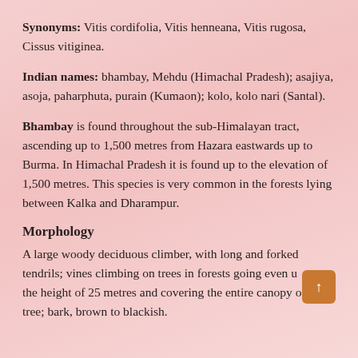Synonyms: Vitis cordifolia, Vitis henneana, Vitis rugosa, Cissus vitiginea.
Indian names: bhambay, Mehdu (Himachal Pradesh); asajiya, asoja, paharphuta, purain (Kumaon); kolo, kolo nari (Santal).
Bhambay is found throughout the sub-Himalayan tract, ascending up to 1,500 metres from Hazara eastwards up to Burma. In Himachal Pradesh it is found up to the elevation of 1,500 metres. This species is very common in the forests lying between Kalka and Dharampur.
Morphology
A large woody deciduous climber, with long and forked tendrils; vines climbing on trees in forests going even u… the height of 25 metres and covering the entire canopy of the tree; bark, brown to blackish.